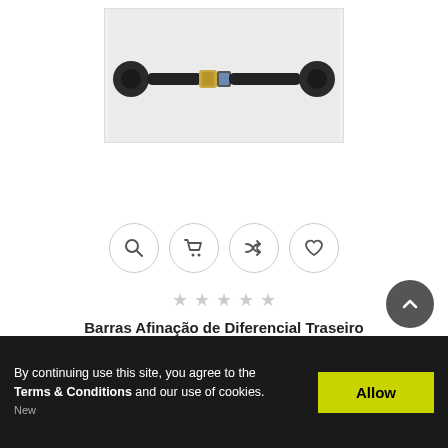[Figure (photo): A black adjustable tie rod or suspension linkage bar with ball joints on both ends and a gold/brass adjustment collar in the middle, photographed on a white/gray background.]
[Figure (infographic): Row of four circular icon buttons: magnifying glass (search), shopping cart (add to cart), shuffle/compare arrows, and heart (wishlist).]
[Figure (infographic): Five gray star rating icons indicating no rating yet.]
Barras Afinação de Diferencial Traseiro
By continuing use this site, you agree to the Terms & Conditions and our use of cookies.
New